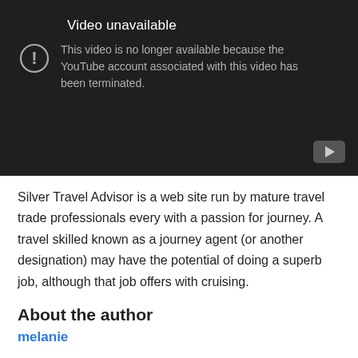[Figure (screenshot): YouTube video unavailable error screen with dark background. Shows title 'Video unavailable' and message 'This video is no longer available because the YouTube account associated with this video has been terminated.' with an exclamation icon and YouTube play button in bottom right.]
Silver Travel Advisor is a web site run by mature travel trade professionals every with a passion for journey. A travel skilled known as a journey agent (or another designation) may have the potential of doing a superb job, although that job offers with cruising.
About the author
melanie